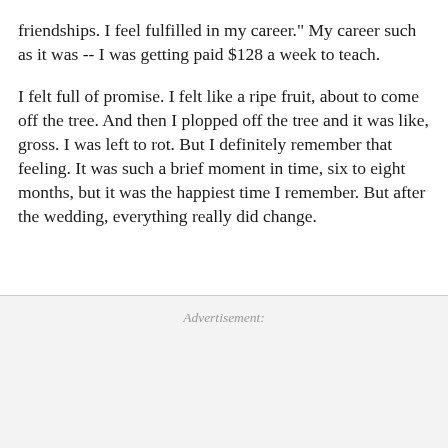friendships. I feel fulfilled in my career." My career such as it was -- I was getting paid $128 a week to teach.
I felt full of promise. I felt like a ripe fruit, about to come off the tree. And then I plopped off the tree and it was like, gross. I was left to rot. But I definitely remember that feeling. It was such a brief moment in time, six to eight months, but it was the happiest time I remember. But after the wedding, everything really did change.
Advertisement: